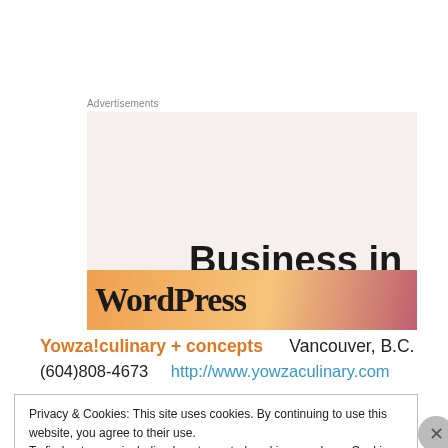Advertisements
[Figure (illustration): WordPress advertisement banner showing 'Business in the front...' text on a light beige background, with an orange/pink gradient banner at the bottom showing 'WordPress' text.]
Yowza!culinary + concepts    Vancouver, B.C.
(604)808-4673    http://www.yowzaculinary.com
Privacy & Cookies: This site uses cookies. By continuing to use this website, you agree to their use.
To find out more, including how to control cookies, see here: Cookie Policy
Close and accept